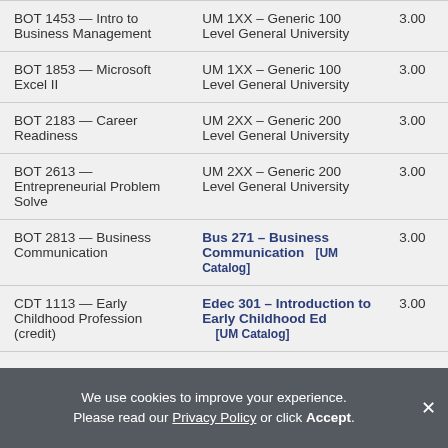| Source Course | Destination Course | Credits |
| --- | --- | --- |
| BOT 1453 — Intro to Business Management | UM 1XX – Generic 100 Level General University | 3.00 |
| BOT 1853 — Microsoft Excel II | UM 1XX – Generic 100 Level General University | 3.00 |
| BOT 2183 — Career Readiness | UM 2XX – Generic 200 Level General University | 3.00 |
| BOT 2613 — Entrepreneurial Problem Solve | UM 2XX – Generic 200 Level General University | 3.00 |
| BOT 2813 — Business Communication | Bus 271 – Business Communication [UM Catalog] | 3.00 |
| CDT 1113 — Early Childhood Profession (credit) | Edec 301 – Introduction to Early Childhood Ed [UM Catalog] | 3.00 |
We use cookies to improve your experience. Please read our Privacy Policy or click Accept.